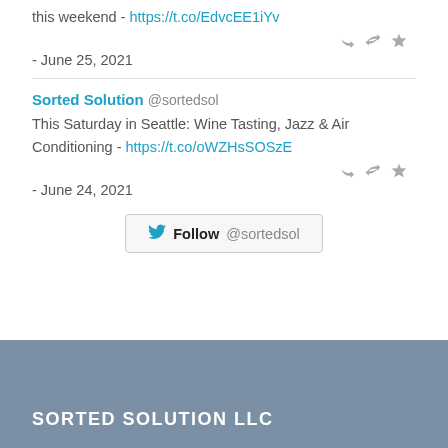this weekend - https://t.co/EdvcEE1iYv
- June 25, 2021
Sorted Solution @sortedsol
This Saturday in Seattle: Wine Tasting, Jazz & Air Conditioning - https://t.co/oWZHsSOSzE
- June 24, 2021
Follow @sortedsol
SORTED SOLUTION LLC